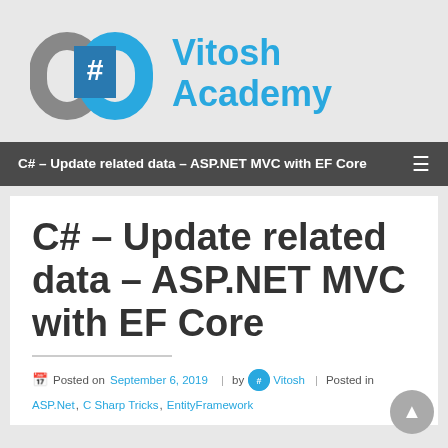[Figure (logo): Vitosh Academy logo with C# chain link icon in gray and blue, next to bold cyan text 'Vitosh Academy']
C# – Update related data – ASP.NET MVC with EF Core
C# – Update related data – ASP.NET MVC with EF Core
Posted on September 6, 2019 | by Vitosh | Posted in ASP.Net, C Sharp Tricks, EntityFramework